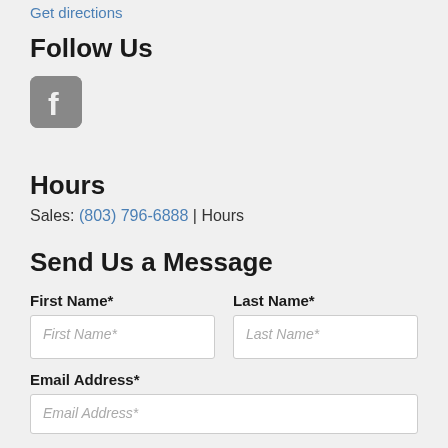Get directions
Follow Us
[Figure (logo): Facebook icon — grey rounded square with white F logo]
Hours
Sales: (803) 796-6888 | Hours
Send Us a Message
First Name*
Last Name*
Email Address*